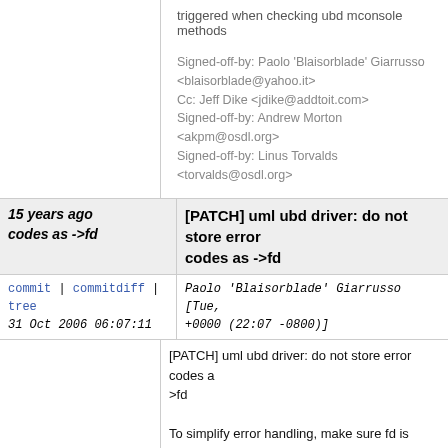triggered when checking ubd mconsole methods

Signed-off-by: Paolo 'Blaisorblade' Giarrusso <blaisorblade@yahoo.it>
Cc: Jeff Dike <jdike@addtoit.com>
Signed-off-by: Andrew Morton <akpm@osdl.org>
Signed-off-by: Linus Torvalds <torvalds@osdl.org>
15 years ago [PATCH] uml ubd driver: do not store error codes as ->fd
commit | commitdiff | tree   Paolo 'Blaisorblade' Giarrusso [Tue, 31 Oct 2006 06:07:11 +0000 (22:07 -0800)]
[PATCH] uml ubd driver: do not store error codes as ->fd

To simplify error handling, make sure fd is saved in ->fd only when
we are sure it is an fd and not an error code.

Signed-off-by: Paolo 'Blaisorblade' Giarrusso <blaisorblade@yahoo.it>
Cc: Jeff Dike <jdike@addtoit.com>
Signed-off-by: Andrew Morton <akpm@osdl.org>
Signed-off-by: Linus Torvalds <torvalds@osdl.org>